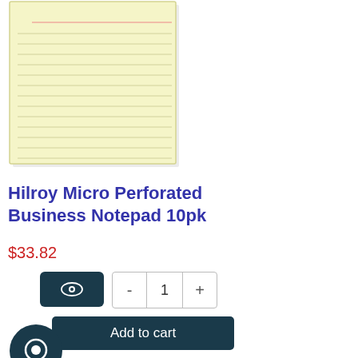[Figure (photo): Yellow lined notepad (Hilroy Micro Perforated Business Notepad) shown from the front, displaying ruled lines on yellow paper]
Hilroy Micro Perforated Business Notepad 10pk
$33.82
[Figure (screenshot): UI controls: eye icon button (dark teal), quantity selector showing minus, 1, plus buttons, Add to cart button (dark teal), and a chat bubble icon]